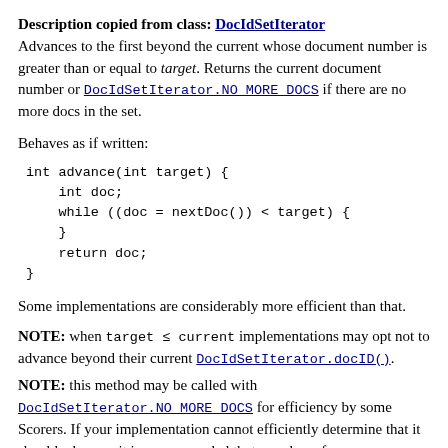Description copied from class: DocIdSetIterator
Advances to the first beyond the current whose document number is greater than or equal to target. Returns the current document number or DocIdSetIterator.NO_MORE_DOCS if there are no more docs in the set.
Behaves as if written:
int advance(int target) {
    int doc;
    while ((doc = nextDoc()) < target) {
    }
    return doc;
}
Some implementations are considerably more efficient than that.
NOTE: when target ≤ current implementations may opt not to advance beyond their current DocIdSetIterator.docID().
NOTE: this method may be called with DocIdSetIterator.NO_MORE_DOCS for efficiency by some Scorers. If your implementation cannot efficiently determine that it should advance, it is recommended that you do so for...